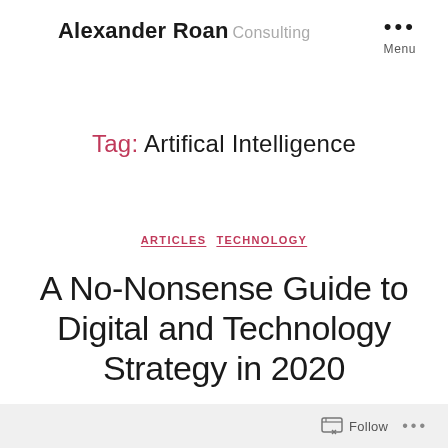Alexander Roan Consulting — Menu
Tag: Artifical Intelligence
ARTICLES  TECHNOLOGY
A No-Nonsense Guide to Digital and Technology Strategy in 2020
Follow ...